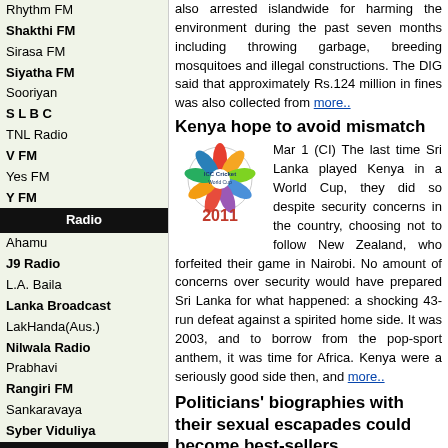Rhythm FM
Shakthi FM
Sirasa FM
Siyatha FM
Sooriyan
S L B C
TNL Radio
V FM
Yes FM
Y FM
Radio
Ahamu
J9 Radio
L.A. Baila
Lanka Broadcast
LakHanda(Aus.)
Nilwala Radio
Prabhavi
Rangiri FM
Sankaravaya
Syber Viduliya
T V
Derana
I T N
Max TV
Rupavahini
Siyasa TV
Swarnavahini
YA TV
V i d e o
also arrested islandwide for harming the environment during the past seven months including throwing garbage, breeding mosquitoes and illegal constructions. The DIG said that approximately Rs.124 million in fines was also collected from more..
Kenya hope to avoid mismatch
Mar 1 (CI) The last time Sri Lanka played Kenya in a World Cup, they did so despite security concerns in the country, choosing not to follow New Zealand, who forfeited their game in Nairobi. No amount of concerns over security would have prepared Sri Lanka for what happened: a shocking 43-run defeat against a spirited home side. It was 2003, and to borrow from the pop-sport anthem, it was time for Africa. Kenya were a seriously good side then, and more..
Politicians' biographies with their sexual escapades could become best-sellers
Mar 1 (LG) Biographies and autobiographies of leaders come in handy when they are ready to face elections or when they go into oblivion following their botched tenure. Biographies are commissioned with tax-payers' money and never from the leaders' own pockets.And there are enough starving writers and journalists in Sri Lanka to be enticed into imparting their writing skills to prop up their commissioners' as we have seen in the likes of Gunasuwa Goodhia